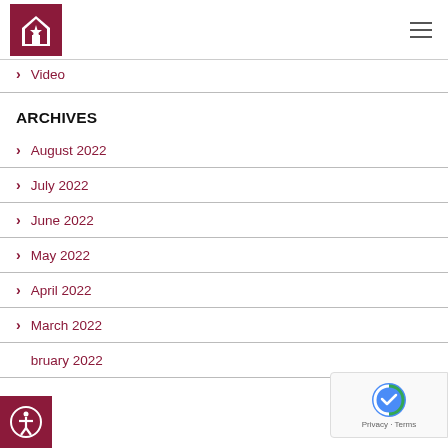Logo and navigation header
Video
ARCHIVES
August 2022
July 2022
June 2022
May 2022
April 2022
March 2022
February 2022